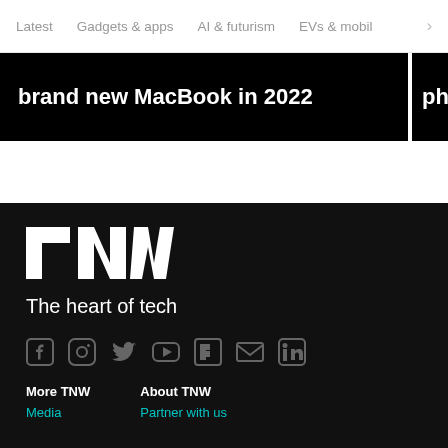Latest  Gadgets & apps  AI & futurism  EVs & mobil  >
brand new MacBook in 2022
photo
[Figure (logo): TNW logo in white on black background]
The heart of tech
[Figure (infographic): Social media icons row: Facebook, Instagram, Twitter, YouTube, Flipboard, Email, LinkedIn]
More TNW
About TNW
Media
Partner with us